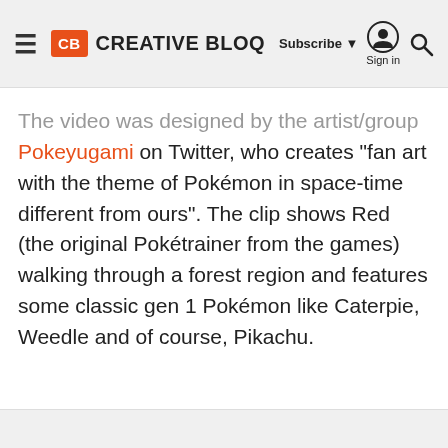Creative Bloq — Subscribe | Sign in | Search
The video was designed by the artist/group Pokeyugami on Twitter, who creates "fan art with the theme of Pokémon in space-time different from ours". The clip shows Red (the original Pokétrainer from the games) walking through a forest region and features some classic gen 1 Pokémon like Caterpie, Weedle and of course, Pikachu.